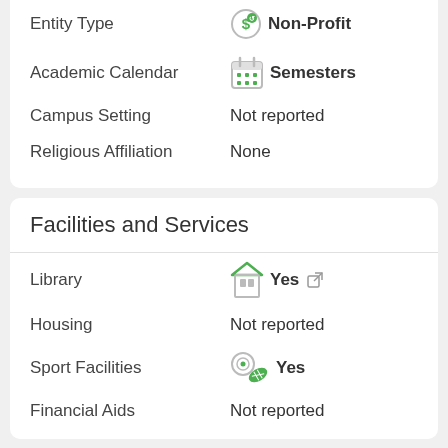Entity Type — Non-Profit
Academic Calendar — Semesters
Campus Setting — Not reported
Religious Affiliation — None
Facilities and Services
Library — Yes
Housing — Not reported
Sport Facilities — Yes
Financial Aids — Not reported